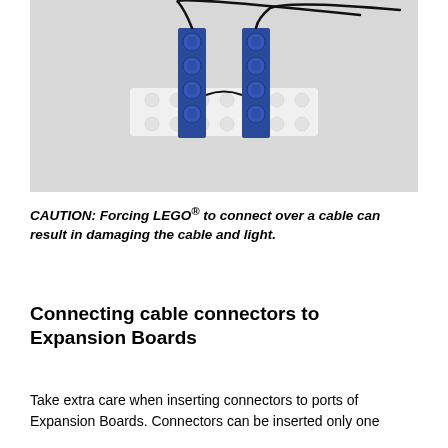[Figure (photo): Photo of two blue LEGO 1x4 bricks standing upright on a white LEGO plate, with black wires/cables threaded between them, on a white background.]
CAUTION: Forcing LEGO® to connect over a cable can result in damaging the cable and light.
Connecting cable connectors to Expansion Boards
Take extra care when inserting connectors to ports of Expansion Boards. Connectors can be inserted only one